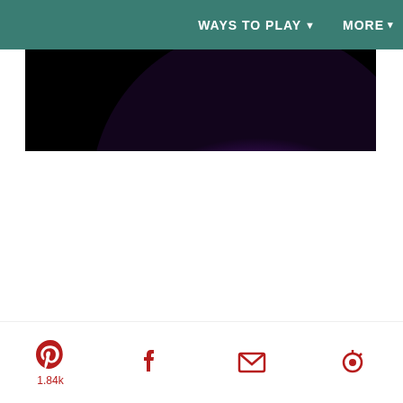WAYS TO PLAY▼   MORE ▾
[Figure (photo): Dark image with glowing orb showing orange center fading to pink/magenta and purple, on a black background. Partial view - bottom half of sphere visible.]
[Figure (infographic): Social sharing bar with Pinterest (1.84k), Facebook, Email (envelope icon), and refresh/cycle icon buttons in dark red/crimson color.]